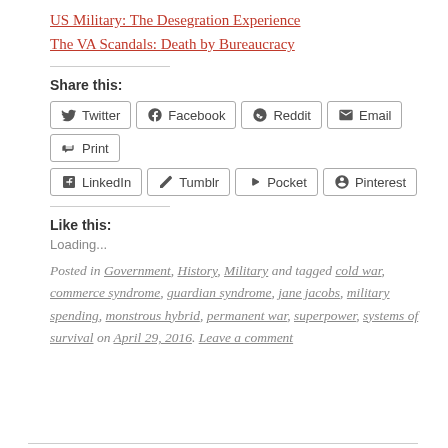US Military: The Desegration Experience
The VA Scandals: Death by Bureaucracy
Share this:
[Figure (other): Social sharing buttons: Twitter, Facebook, Reddit, Email, Print, LinkedIn, Tumblr, Pocket, Pinterest]
Like this:
Loading...
Posted in Government, History, Military and tagged cold war, commerce syndrome, guardian syndrome, jane jacobs, military spending, monstrous hybrid, permanent war, superpower, systems of survival on April 29, 2016. Leave a comment